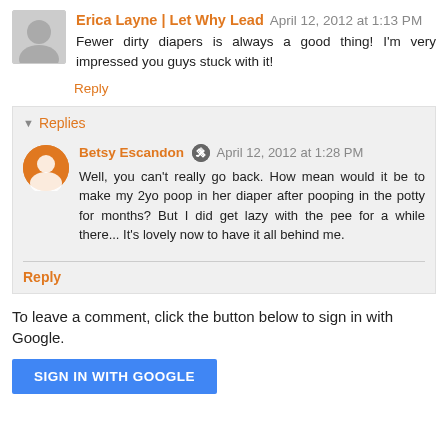Erica Layne | Let Why Lead  April 12, 2012 at 1:13 PM
Fewer dirty diapers is always a good thing! I'm very impressed you guys stuck with it!
Reply
Replies
Betsy Escandon  April 12, 2012 at 1:28 PM
Well, you can't really go back. How mean would it be to make my 2yo poop in her diaper after pooping in the potty for months? But I did get lazy with the pee for a while there... It's lovely now to have it all behind me.
Reply
To leave a comment, click the button below to sign in with Google.
SIGN IN WITH GOOGLE